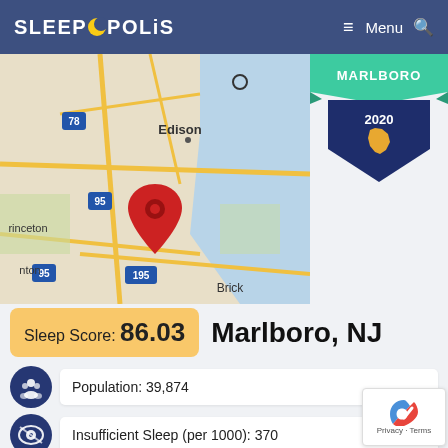SLEEPOPOLIS   Menu  🔍
[Figure (map): Google Maps screenshot showing central New Jersey area with Edison, Princeton area visible and red location pin drop near Marlboro NJ, highways 78, 95, 195 labeled, Brick visible at bottom]
[Figure (illustration): Sleepopolis badge/award graphic: teal ribbon banner at top with MARLBORO text, dark navy shield shape with year 2020 and New Jersey state silhouette in gold/orange]
Sleep Score: 86.03
Marlboro, NJ
Population: 39,874
Insufficient Sleep (per 1000): 370
Median Income: 143,208